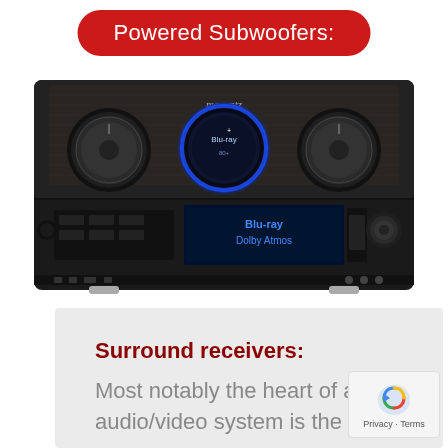Powered Subwoofers:
[Figure (photo): Marantz AV receiver front panel showing display reading 'Blu-ray Dolby Atmos', with large volume knobs on each side and blue circular display in center]
Surround receivers:
Most notably the heart of any audio/video system is the